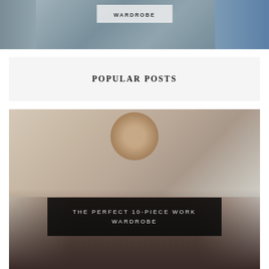[Figure (photo): Top portion of a fashion blog photo showing a person with a semi-transparent overlay text box reading WARDROBE]
POPULAR POSTS
[Figure (photo): Fashion blog photo of a smiling woman in a black turtleneck and dark skirt, with a dark overlay text box reading THE PERFECT 10-PIECE WORK WARDROBE]